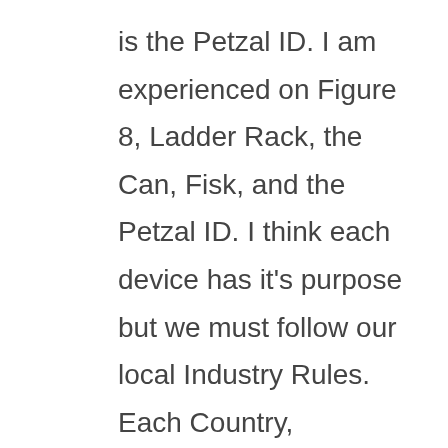is the Petzal ID. I am experienced on Figure 8, Ladder Rack, the Can, Fisk, and the Petzal ID. I think each device has it's purpose but we must follow our local Industry Rules. Each Country, Company, and Industry will have their own set of rules. Just make sure you know which set of Regulations to go by.